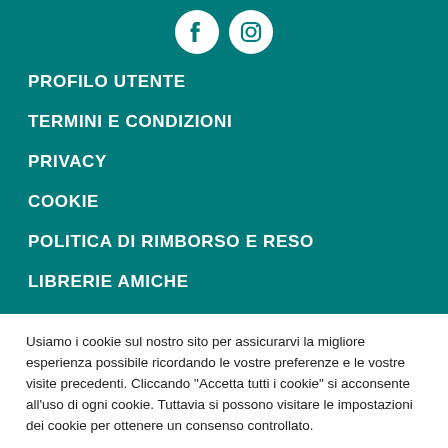[Figure (illustration): Social media icons: Facebook and Instagram, white icons on teal background]
PROFILO UTENTE
TERMINI E CONDIZIONI
PRIVACY
COOKIE
POLITICA DI RIMBORSO E RESO
LIBRERIE AMICHE
Usiamo i cookie sul nostro sito per assicurarvi la migliore esperienza possibile ricordando le vostre preferenze e le vostre visite precedenti. Cliccando "Accetta tutti i cookie" si acconsente all'uso di ogni cookie. Tuttavia si possono visitare le impostazioni dei cookie per ottenere un consenso controllato.
Impostazione Cookie | Accetta tutti i cookie